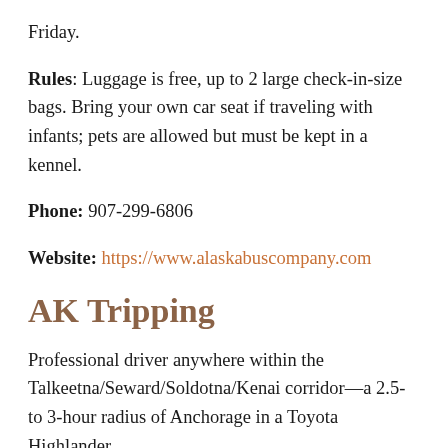Friday.
Rules: Luggage is free, up to 2 large check-in-size bags. Bring your own car seat if traveling with infants; pets are allowed but must be kept in a kennel.
Phone: 907-299-6806
Website: https://www.alaskabuscompany.com
AK Tripping
Professional driver anywhere within the Talkeetna/Seward/Soldotna/Kenai corridor—a 2.5- to 3-hour radius of Anchorage in a Toyota Highlander.